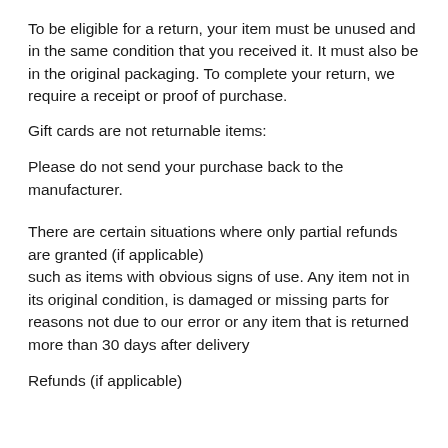To be eligible for a return, your item must be unused and in the same condition that you received it. It must also be in the original packaging. To complete your return, we require a receipt or proof of purchase.
Gift cards are not returnable items:
Please do not send your purchase back to the manufacturer.
There are certain situations where only partial refunds are granted (if applicable)
such as items with obvious signs of use. Any item not in its original condition, is damaged or missing parts for reasons not due to our error or any item that is returned more than 30 days after delivery
Refunds (if applicable)